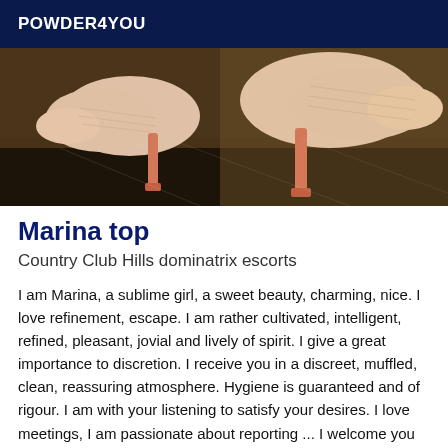POWDER4YOU
[Figure (photo): Close-up photo of two high-heeled shoes (pumps) with pink/beige textured fabric and coral/orange stiletto heels, photographed on a reflective dark surface.]
Marina top
Country Club Hills dominatrix escorts
I am Marina, a sublime girl, a sweet beauty, charming, nice. I love refinement, escape. I am rather cultivated, intelligent, refined, pleasant, jovial and lively of spirit. I give a great importance to discretion. I receive you in a discreet, muffled, clean, reassuring atmosphere. Hygiene is guaranteed and of rigour. I am with your listening to satisfy your desires. I love meetings, I am passionate about reporting ... I welcome you in very fine lingerie (corset, garter belt, stockings, thong, stilettos, pumps, sexy dress, skirt ... on request.). I am available